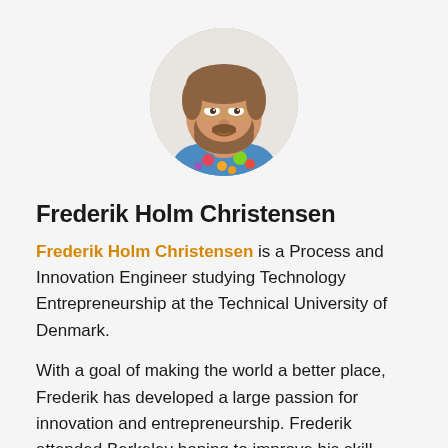[Figure (photo): Circular profile photo of a young man with a beard and glasses, wearing a colorful floral shirt, smiling.]
Frederik Holm Christensen
Frederik Holm Christensen is a Process and Innovation Engineer studying Technology Entrepreneurship at the Technical University of Denmark.
With a goal of making the world a better place, Frederik has developed a large passion for innovation and entrepreneurship. Frederik attended Berkeley hoping to improve his skill